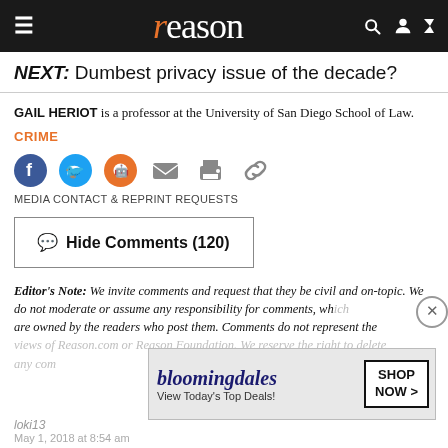reason
NEXT: Dumbest privacy issue of the decade?
GAIL HERIOT is a professor at the University of San Diego School of Law.
CRIME
[Figure (infographic): Social sharing icons: Facebook, Twitter, Reddit, Email, Print, Link]
MEDIA CONTACT & REPRINT REQUESTS
Hide Comments (120)
Editor's Note: We invite comments and request that they be civil and on-topic. We do not moderate or assume any responsibility for comments, which are owned by the readers who post them. Comments do not represent the views of Reason.com or Reason Foundation. We reserve the right to delete any com...
[Figure (infographic): Bloomingdales advertisement banner: View Today's Top Deals! SHOP NOW >]
loki13
May 1, 2018 at 8:54 am